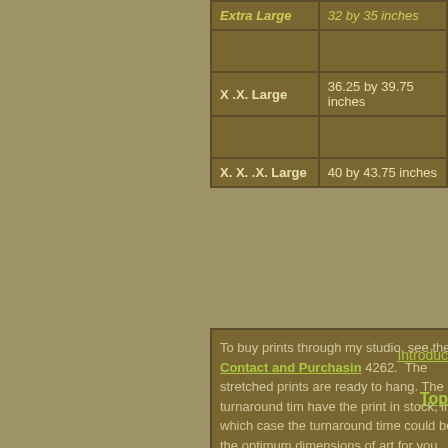| Size | Dimensions |
| --- | --- |
| Extra Large | 32 by 35 inches |
|  |  |
| X .X. Large | 36.25 by 39.75 inches |
|  |  |
| X. X. .X. Large | 40 by 43.75 inches |
To buy prints through my studio, see the Contact and Purchasing 4262. The stretched prints are ready to hang. The turnaround tim have the print in stock, in which case the turnaround time could be the optimum dimensions of art for you wall, I recommend taping fo tape, to your wall, in the shape of a rectangle. The prices are for
Introduc
Top